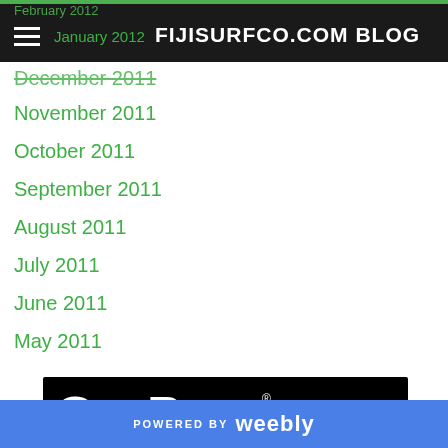FIJISURFCO.COM BLOG
January 2012
December 2011
November 2011
October 2011
September 2011
August 2011
July 2011
June 2011
May 2011
[Figure (logo): GoPro logo — black background with white GoPro text, tagline 'Be a HERO.' and four thumbnail images of action sports]
POWERED BY weebly